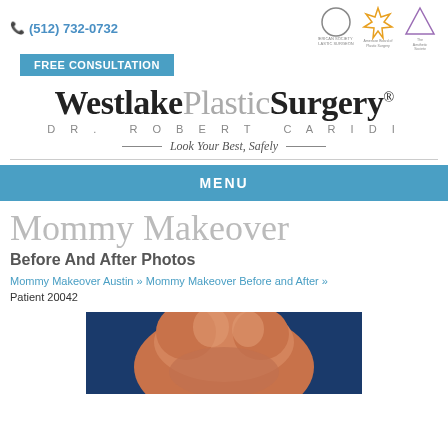(512) 732-0732
FREE CONSULTATION
[Figure (logo): American Society of Plastic Surgeons, American Board of Plastic Surgery, The Aesthetic Society logos]
Westlake Plastic Surgery® DR. ROBERT CARIDI — Look Your Best, Safely —
MENU
Mommy Makeover
Before And After Photos
Mommy Makeover Austin » Mommy Makeover Before and After » Patient 20042
[Figure (photo): Before and after photo of patient 20042 mommy makeover procedure, showing torso area against blue background]